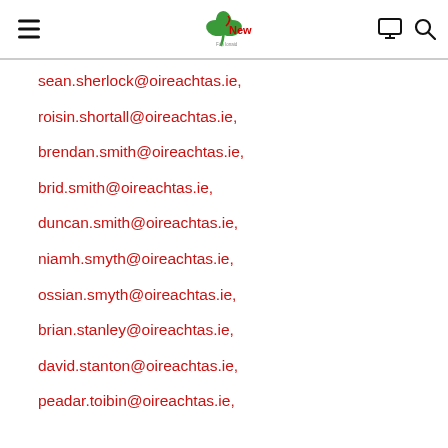News
sean.sherlock@oireachtas.ie,
roisin.shortall@oireachtas.ie,
brendan.smith@oireachtas.ie,
brid.smith@oireachtas.ie,
duncan.smith@oireachtas.ie,
niamh.smyth@oireachtas.ie,
ossian.smyth@oireachtas.ie,
brian.stanley@oireachtas.ie,
david.stanton@oireachtas.ie,
peadar.toibin@oireachtas.ie,